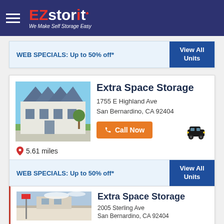[Figure (logo): EZstorit logo with hamburger menu on dark navy background. Text reads 'EZ stor it' with red E, Z and i, white stor and t, and tagline 'We Make Self Storage Easy']
WEB SPECIALS: Up to 50% off*
View All Units
Extra Space Storage
1755 E Highland Ave
San Bernardino, CA 92404
Call Now
5.61 miles
WEB SPECIALS: Up to 50% off*
View All Units
Extra Space Storage
2005 Sterling Ave
San Bernardino, CA 92404